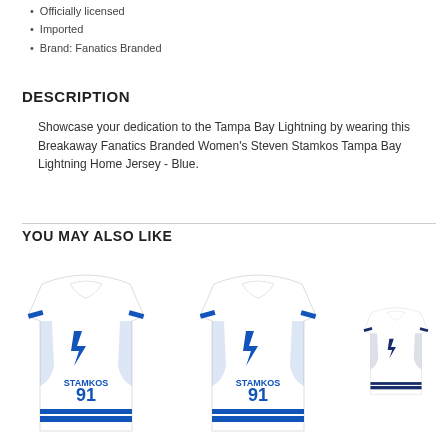Officially licensed
Imported
Brand: Fanatics Branded
DESCRIPTION
Showcase your dedication to the Tampa Bay Lightning by wearing this Breakaway Fanatics Branded Women's Steven Stamkos Tampa Bay Lightning Home Jersey - Blue.
YOU MAY ALSO LIKE
[Figure (photo): Three Tampa Bay Lightning Stamkos #91 white away jerseys shown side by side as product recommendations]